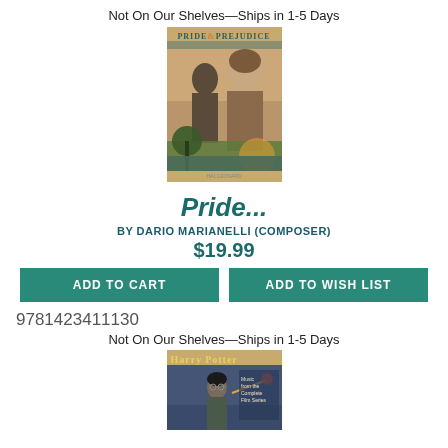Not On Our Shelves—Ships in 1-5 Days
[Figure (illustration): Book cover of Pride & Prejudice movie soundtrack sheet music by Dario Marianelli, showing two figures from the film]
Pride...
BY DARIO MARIANELLI (COMPOSER)
$19.99
ADD TO CART
ADD TO WISH LIST
9781423411130
Not On Our Shelves—Ships in 1-5 Days
[Figure (illustration): Book cover of Harry Potter sheet music book, showing Harry Potter with wand raised]